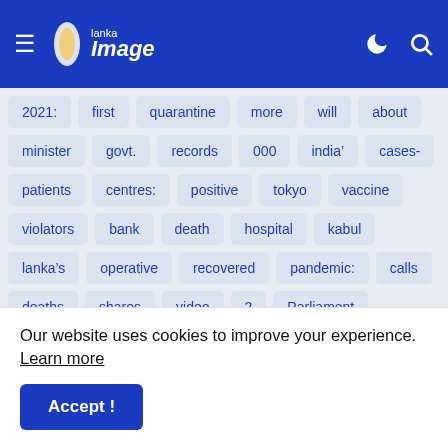Lanka Image - navigation bar with hamburger menu, logo, moon icon, search icon
2021:
first
quarantine
more
will
about
minister
govt.
records
000
india&#8217;
cases-
patients
centres:
positive
tokyo
vaccine
violators
bank
death
hospital
kabul
lanka&#8217;s
operative
recovered
pandemic:
calls
deaths
shares
video
2
Parliament
national
study
uncategorized
Cricket
against
dialog
foreign
lockdown
stars
&
afghan
Our website uses cookies to improve your experience. Learn more
Accept !